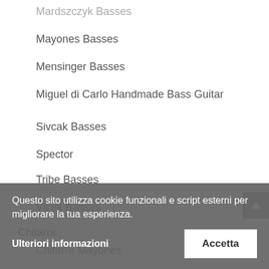Mardszczyk Basses
Mayones Basses
Mensinger Basses
Miguel di Carlo Handmade Bass Guitar
Sivcak Basses
Spector
Tribe Basses
Vlcek Basses
Chitarre
Chitarre Mayones
Questo sito utilizza cookie funzionali e script esterni per migliorare la tua esperienza.
Ulteriori informazioni
Accetta